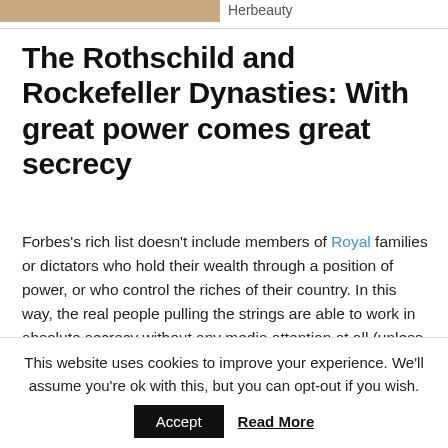[Figure (photo): Partial image visible at top left corner of the page]
Herbeauty
The Rothschild and Rockefeller Dynasties: With great power comes great secrecy
Forbes's rich list doesn't include members of Royal families or dictators who hold their wealth through a position of power, or who control the riches of their country. In this way, the real people pulling the strings are able to work in absolute secrecy without any media attention at all (unless it is carefully-constructed positive propaganda, like this article on
This website uses cookies to improve your experience. We'll assume you're ok with this, but you can opt-out if you wish.